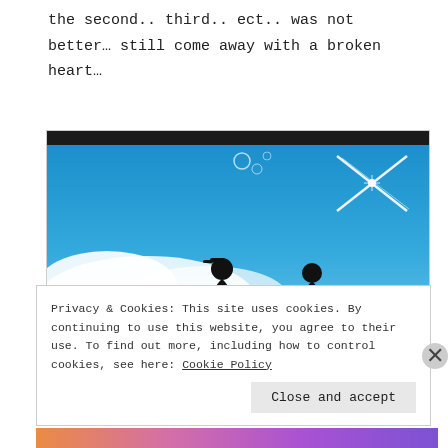the second.. third.. ect.. was not better… still come away with a broken heart…
[Figure (photo): Silhouette image of two people facing each other against a blue sky with white clouds and airplane contrails forming an X shape.]
Privacy & Cookies: This site uses cookies. By continuing to use this website, you agree to their use. To find out more, including how to control cookies, see here: Cookie Policy